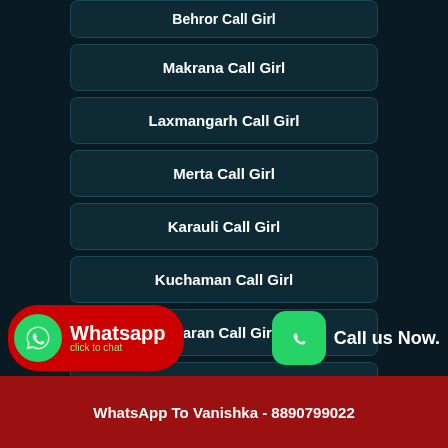Behror Call Girl
Makrana Call Girl
Laxmangarh Call Girl
Merta Call Girl
Karauli Call Girl
Kuchaman Call Girl
Baran Call Girl
Sagwara Call Girl
Call Vanishka Now - 8890799022
WhatsApp To Vanishka - 8890799022